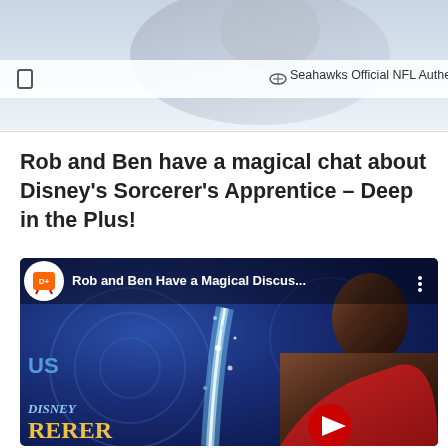[Figure (screenshot): Top banner showing a blurred sports/NFL background image with a Seahawks Official NFL Authentic label bar containing a checkbox icon on the left and football icon with text]
Seahawks Official NFL Authentic
Rob and Ben have a magical chat about Disney's Sorcerer's Apprentice – Deep in the Plus!
[Figure (screenshot): YouTube video thumbnail for 'Rob and Ben Have a Magical Discus...' showing a man with long hair against a blue magical Disney background with sparkle effects, Disney Sorcerer's Apprentice title text in gold, and a YouTube play button at the bottom]